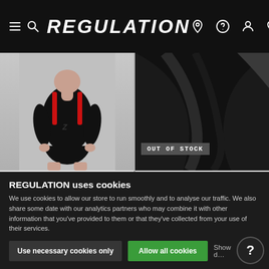REGULATION - navigation header with menu, logo, location, help, account, wishlist, cart icons
[Figure (photo): Product photo of a person wearing a black and red wrestling singlet/bodysuit by BOXER Barcelona]
BOXER Barcelona
FISTBODY WRESTLER, BLACK/RED
[Figure (photo): Dark fabric product photo with OUT OF STOCK badge overlay, for Sheets of San Francisco SHEETS OF SF THROW]
Sheets of San Francisco
SHEETS OF SF THROW
★★★★★
REGULATION uses cookies
We use cookies to allow our store to run smoothly and to analyse our traffic. We also share some date with our analytics partners who may combine it with other information that you've provided to them or that they've collected from your use of their services.
Use necessary cookies only
Allow all cookies
Show d...